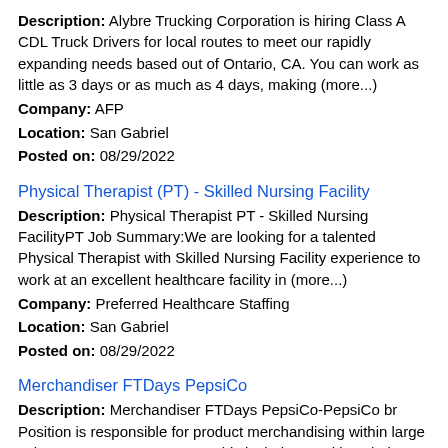Description: Alybre Trucking Corporation is hiring Class A CDL Truck Drivers for local routes to meet our rapidly expanding needs based out of Ontario, CA. You can work as little as 3 days or as much as 4 days, making (more...)
Company: AFP
Location: San Gabriel
Posted on: 08/29/2022
Physical Therapist (PT) - Skilled Nursing Facility
Description: Physical Therapist PT - Skilled Nursing FacilityPT Job Summary:We are looking for a talented Physical Therapist with Skilled Nursing Facility experience to work at an excellent healthcare facility in (more...)
Company: Preferred Healthcare Staffing
Location: San Gabriel
Posted on: 08/29/2022
Merchandiser FTDays PepsiCo
Description: Merchandiser FTDays PepsiCo-PepsiCo br Position is responsible for product merchandising within large volume stores Grocery, etc. . This includes stocking shelves,
Company: Tier One Alerts - PepsiCo
Location: Rowland Heights
Posted on: 08/29/2022